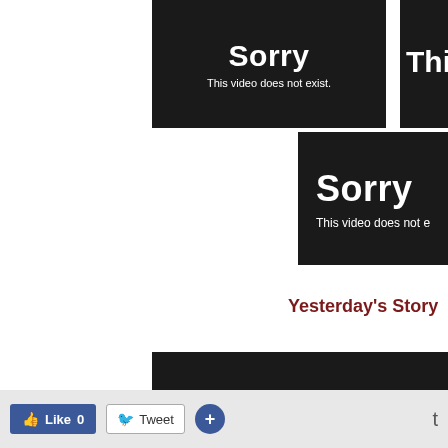[Figure (screenshot): Black error box showing 'Sorry - This video does not exist.' message, top center]
[Figure (screenshot): Black error box showing partial 'Thi...' text, top right, cropped]
[Figure (screenshot): Black error box showing 'Sorry - This video does not e...' message, middle right, cropped]
Yesterday's Story
[Figure (screenshot): Bottom black bar, partial video embed]
[Figure (screenshot): Toolbar with Like 0 button, Tweet button, plus button, and 't' label]